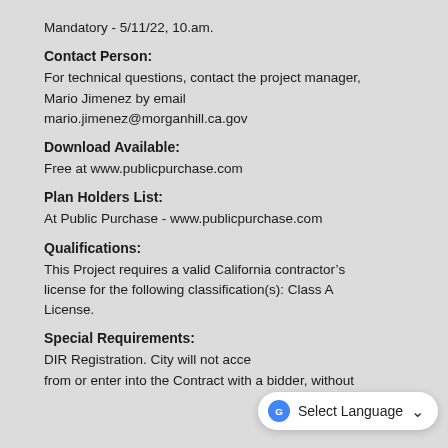Mandatory - 5/11/22, 10.am.
Contact Person:
For technical questions, contact the project manager, Mario Jimenez by email mario.jimenez@morganhill.ca.gov
Download Available:
Free at www.publicpurchase.com
Plan Holders List:
At Public Purchase - www.publicpurchase.com
Qualifications:
This Project requires a valid California contractor’s license for the following classification(s): Class A License.
Special Requirements:
DIR Registration. City will not acce… from or enter into the Contract with a bidder, without